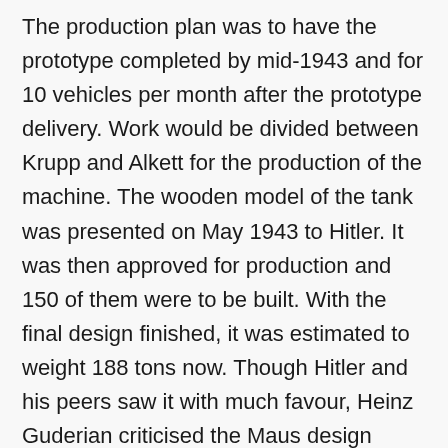The production plan was to have the prototype completed by mid-1943 and for 10 vehicles per month after the prototype delivery. Work would be divided between Krupp and Alkett for the production of the machine. The wooden model of the tank was presented on May 1943 to Hitler. It was then approved for production and 150 of them were to be built. With the final design finished, it was estimated to weight 188 tons now. Though Hitler and his peers saw it with much favour, Heinz Guderian criticised the Maus design because there was a lack of machine guns, thus it was extremely vulnerable to infantry attacks at close-quarters for the same reason as the Ferdinand tank destroyer. The anti-infantry problem was solved with the addition of a coaxial machine gun and a [continues]